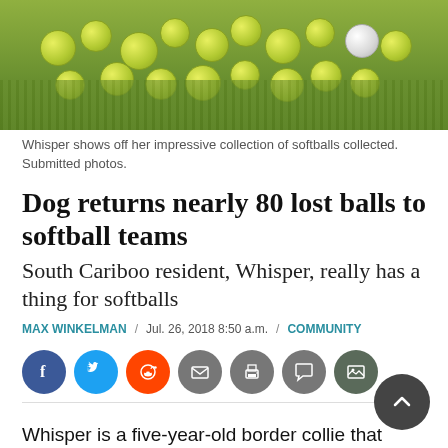[Figure (photo): Collection of yellow-green softballs and one white baseball lying on green grass]
Whisper shows off her impressive collection of softballs collected. Submitted photos.
Dog returns nearly 80 lost balls to softball teams
South Cariboo resident, Whisper, really has a thing for softballs
MAX WINKELMAN / Jul. 26, 2018 8:50 a.m. / COMMUNITY
[Figure (infographic): Social media sharing icons: Facebook, Twitter, Reddit, Email, Print, Comment, Image]
Whisper is a five-year-old border collie that loves to play fetch. However, while her owners usually throw a stick for her, she seems to prefer coming back with a ball.